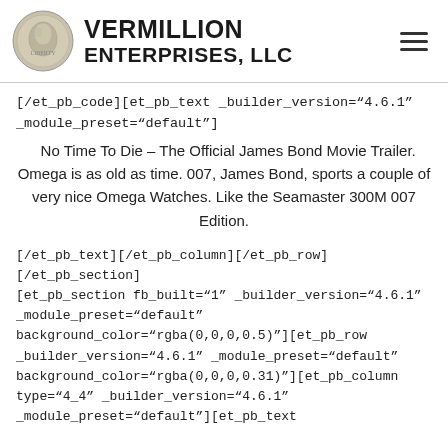VERMILLION ENTERPRISES, LLC
[/et_pb_code][et_pb_text _builder_version="4.6.1" _module_preset="default"]
No Time To Die – The Official James Bond Movie Trailer. Omega is as old as time. 007, James Bond, sports a couple of very nice Omega Watches. Like the Seamaster 300M 007 Edition.
[/et_pb_text][/et_pb_column][/et_pb_row][/et_pb_section][et_pb_section fb_built="1" _builder_version="4.6.1" _module_preset="default" background_color="rgba(0,0,0,0.5)"][et_pb_row _builder_version="4.6.1" _module_preset="default" background_color="rgba(0,0,0,0.31)"][et_pb_column type="4_4" _builder_version="4.6.1" _module_preset="default"][et_pb_text